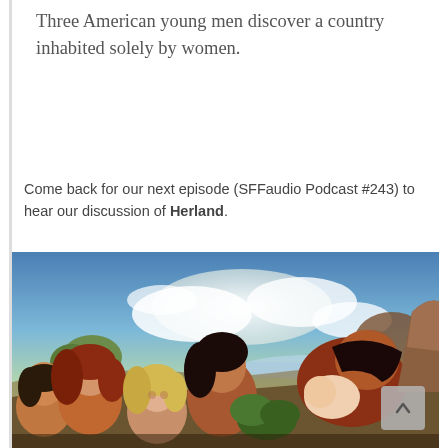Three American young men discover a country inhabited solely by women.
Come back for our next episode (SFFaudio Podcast #243) to hear our discussion of Herland.
[Figure (illustration): Painted illustration showing a group of women and a figure holding a baby in a pastoral landscape with trees and a body of water in the background under a blue sky with clouds. Used as cover art for the book Herland.]